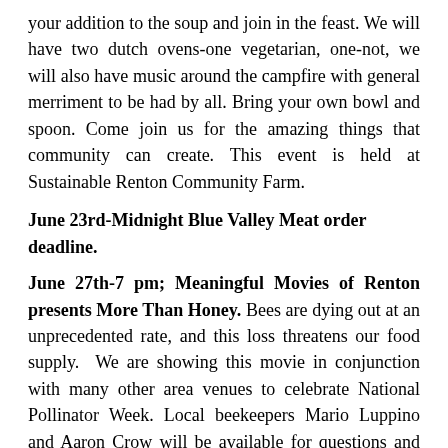your addition to the soup and join in the feast. We will have two dutch ovens-one vegetarian, one-not, we will also have music around the campfire with general merriment to be had by all. Bring your own bowl and spoon. Come join us for the amazing things that community can create. This event is held at Sustainable Renton Community Farm.
June 23rd-Midnight Blue Valley Meat order deadline.
June 27th-7 pm; Meaningful Movies of Renton presents More Than Honey. Bees are dying out at an unprecedented rate, and this loss threatens our food supply.  We are showing this movie in conjunction with many other area venues to celebrate National Pollinator Week. Local beekeepers Mario Luppino and Aaron Crow will be available for questions and discussion after the showing. The movie is FREE and open to the public. Donations gratefully accepted. Refreshments provided. Here's the trailer for the film: https://www.youtube.com/watch?v=KeTqXoPdN50